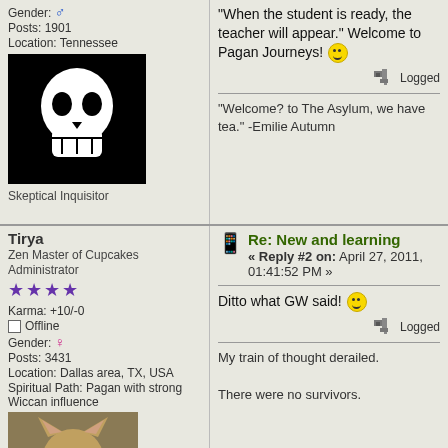Gender: male | Posts: 1901 | Location: Tennessee
[Figure (illustration): Avatar: white skull on black background]
Skeptical Inquisitor
"When the student is ready, the teacher will appear." Welcome to Pagan Journeys! :)
Logged
"Welcome? to The Asylum, we have tea." -Emilie Autumn
Tirya
Zen Master of Cupcakes
Administrator
★★★★
Karma: +10/-0 | Offline | Gender: female | Posts: 3431 | Location: Dallas area, TX, USA | Spiritual Path: Pagan with strong Wiccan influence
[Figure (photo): Avatar: coyote/fox face photo]
Re: New and learning « Reply #2 on: April 27, 2011, 01:41:52 PM »
Ditto what GW said! :)
Logged
My train of thought derailed.

There were no survivors.